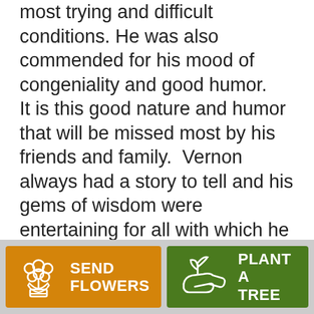most trying and difficult conditions. He was also commended for his mood of congeniality and good humor. It is this good nature and humor that will be missed most by his friends and family. Vernon always had a story to tell and his gems of wisdom were entertaining for all with which he associated. "Dad was warm, caring, and knew every joke he shouldn't tell in mixed company. He loved his dog-kids as much as his real ones, and could make the hula girl tattoo on his forearm wiggle. He taught his children math and life skills via weekly family poker games (he never
[Figure (infographic): Two buttons side by side: orange 'SEND FLOWERS' button with flower bouquet icon, and green 'PLANT A TREE' button with plant/hand icon.]